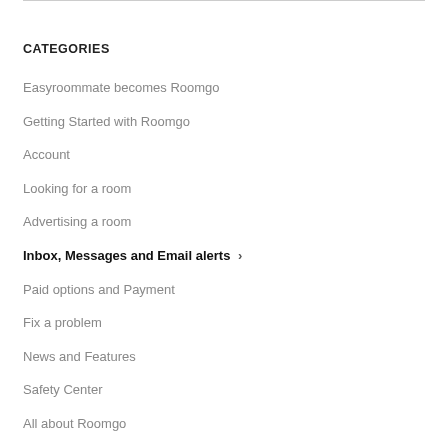CATEGORIES
Easyroommate becomes Roomgo
Getting Started with Roomgo
Account
Looking for a room
Advertising a room
Inbox, Messages and Email alerts ›
Paid options and Payment
Fix a problem
News and Features
Safety Center
All about Roomgo
Contact us